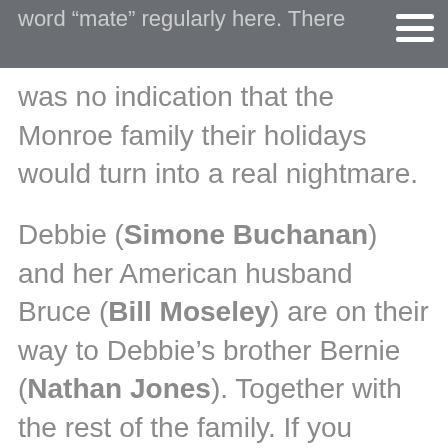word “mate” regularly here. There was no indication that the Monroe family their holidays would turn into a real nightmare.
was no indication that the Monroe family their holidays would turn into a real nightmare.
Debbie (Simone Buchanan) and her American husband Bruce (Bill Moseley) are on their way to Debbie’s brother Bernie (Nathan Jones). Together with the rest of the family. If you already think that the size of the wild boar is going to be impressive, then you’ll certainly be impressed by